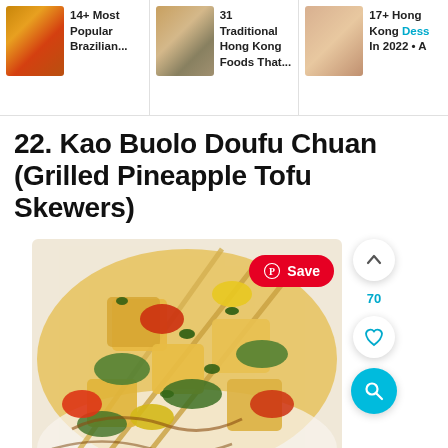14+ Most Popular Brazilian... | 31 Traditional Hong Kong Foods That... | 17+ Hong Kong Dess In 2022 • A
22. Kao Buolo Doufu Chuan (Grilled Pineapple Tofu Skewers)
[Figure (photo): Grilled pineapple tofu skewers on a white plate, with colorful vegetables including zucchini, red and yellow peppers, garnished with fresh herbs. A Pinterest Save button is visible on the photo. Side action buttons show an up arrow, 70 count, heart icon, and search icon.]